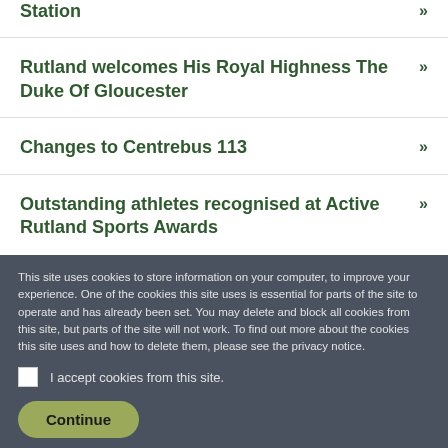Station »
Rutland welcomes His Royal Highness The Duke Of Gloucester »
Changes to Centrebus 113 »
Outstanding athletes recognised at Active Rutland Sports Awards »
This site uses cookies to store information on your computer, to improve your experience. One of the cookies this site uses is essential for parts of the site to operate and has already been set. You may delete and block all cookies from this site, but parts of the site will not work. To find out more about the cookies this site uses and how to delete them, please see the privacy notice.
I accept cookies from this site.
Continue